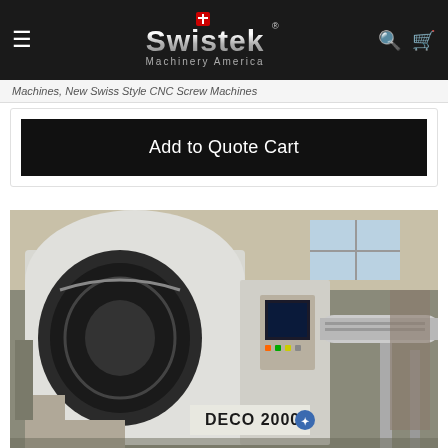Swistek Machinery America — Navigation bar with hamburger menu, logo, search and cart icons
Machines, New Swiss Style CNC Screw Machines
Add to Quote Cart
[Figure (photo): Industrial CNC Swiss-style screw machine labeled DECO 2000, photographed in a factory/shop floor setting. The machine has a large white curved enclosure with a rotating spindle section. A blue and white bar feed mechanism extends to the right. The machine name plate reads DECO 2000 with a logo mark.]